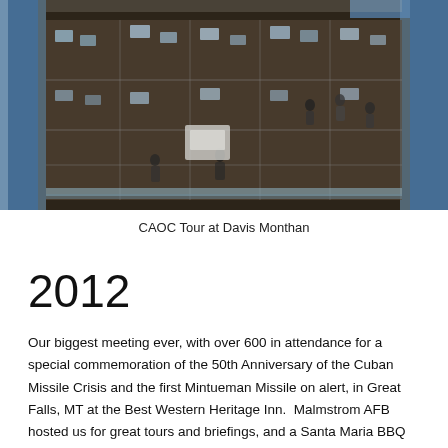[Figure (photo): Aerial/overhead view of a large operations center floor with many cubicles, computer workstations, and personnel working. The room has blue structural columns and railings visible in the foreground and sides. Photographed from an elevated vantage point looking down at the busy workspace.]
CAOC Tour at Davis Monthan
2012
Our biggest meeting ever, with over 600 in attendance for a special commemoration of the 50th Anniversary of the Cuban Missile Crisis and the first Mintueman Missile on alert, in Great Falls, MT at the Best Western Heritage Inn.  Malmstrom AFB hosted us for great tours and briefings, and a Santa Maria BBQ lunch hosted by the Top 3.  That evening, we had dinner at the Great Falls Airport, and the next day most toured the Lewis and Clark Center and the Charlie Russell Museum, while others played in a golf tourney at Meadowlark Country Club.  Maj Gen Mike Carey, the Commander of 20th AF, spoke at dinner that night.  On Saturday morning, more